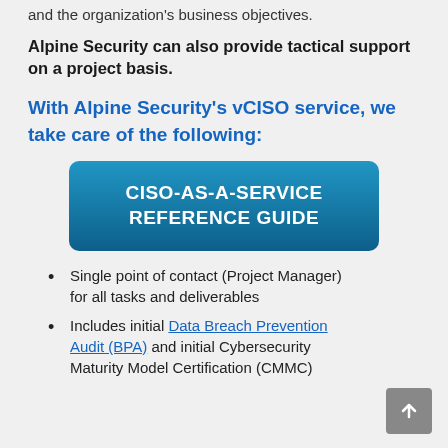and the organization's business objectives.
Alpine Security can also provide tactical support on a project basis.
With Alpine Security's vCISO service, we take care of the following:
[Figure (other): Blue gradient button with text 'CISO-AS-A-SERVICE REFERENCE GUIDE']
Single point of contact (Project Manager) for all tasks and deliverables
Includes initial Data Breach Prevention Audit (BPA) and initial Cybersecurity Maturity Model Certification (CMMC)